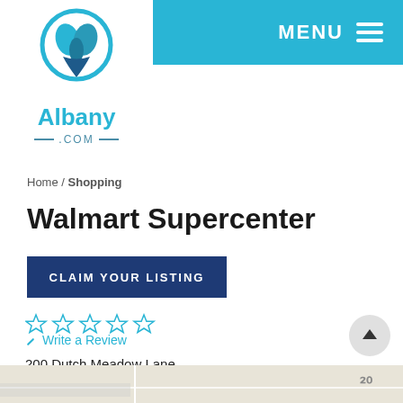[Figure (logo): Albany.com logo with teal map pin icon containing a leaf, with text 'Albany' and '— .COM —']
MENU ☰
Home / Shopping
Walmart Supercenter
CLAIM YOUR LISTING
☆ ☆ ☆ ☆ ☆  Write a Review
200 Dutch Meadow Lane
Glenville, NY 12302
Call
[Figure (map): Partial map view at bottom of page]